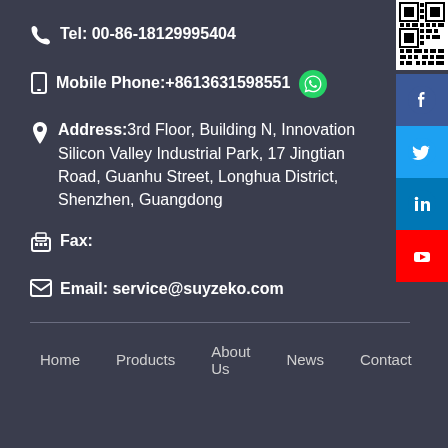Tel: 00-86-18129995404
Mobile Phone:+8613631598551
Address:3rd Floor, Building N, Innovation Silicon Valley Industrial Park, 17 Jingtian Road, Guanhu Street, Longhua District, Shenzhen, Guangdong
Fax:
Email: service@suyzeko.com
[Figure (other): QR code]
[Figure (other): Facebook social media button (blue circle with f)]
[Figure (other): Twitter social media button (blue circle with bird)]
[Figure (other): LinkedIn social media button (blue circle with in)]
[Figure (other): YouTube social media button (red circle with play icon)]
Home    Products    About Us    News    Contact